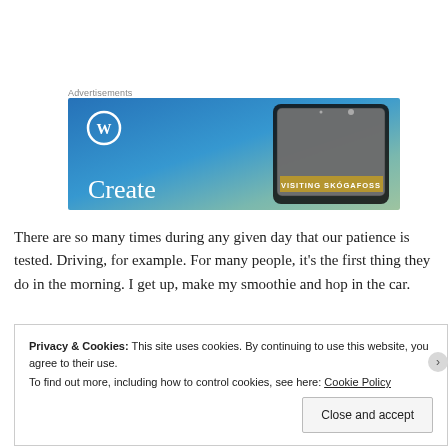Advertisements
[Figure (illustration): WordPress advertisement banner with blue-green gradient background, WordPress logo (W in circle), text 'Create', and a phone mockup showing 'VISITING SKÓGAFOSS']
There are so many times during any given day that our patience is tested. Driving, for example. For many people, it's the first thing they do in the morning. I get up, make my smoothie and hop in the car.
Privacy & Cookies: This site uses cookies. By continuing to use this website, you agree to their use.
To find out more, including how to control cookies, see here: Cookie Policy
Close and accept